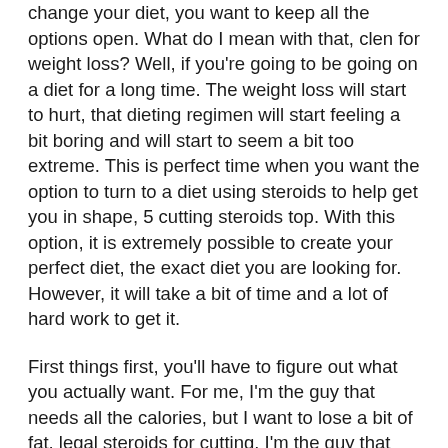change your diet, you want to keep all the options open. What do I mean with that, clen for weight loss? Well, if you're going to be going on a diet for a long time. The weight loss will start to hurt, that dieting regimen will start feeling a bit boring and will start to seem a bit too extreme. This is perfect time when you want the option to turn to a diet using steroids to help get you in shape, 5 cutting steroids top. With this option, it is extremely possible to create your perfect diet, the exact diet you are looking for. However, it will take a bit of time and a lot of hard work to get it.
First things first, you'll have to figure out what you actually want. For me, I'm the guy that needs all the calories, but I want to lose a bit of fat, legal steroids for cutting. I'm the guy that wants the protein, but I've cut that out the whole diet, and when I do do this, I feel much better than when I have all the protein